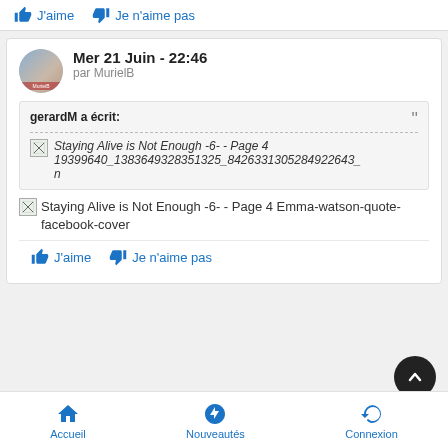J'aime   Je n'aime pas
Mer 21 Juin - 22:46
par MurielB
gerardM a écrit:
[Figure (screenshot): Broken image placeholder with italic text: Staying Alive is Not Enough -6- - Page 4 19399640_1383649328351325_8426331305284922643_n]
Staying Alive is Not Enough -6- - Page 4 Emma-watson-quote-facebook-cover
J'aime   Je n'aime pas
Accueil   Nouveautés   Connexion